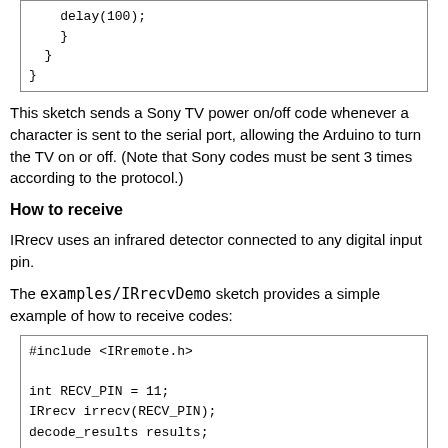[Figure (other): Code snippet showing closing braces: delay(100); } } }]
This sketch sends a Sony TV power on/off code whenever a character is sent to the serial port, allowing the Arduino to turn the TV on or off. (Note that Sony codes must be sent 3 times according to the protocol.)
How to receive
IRrecv uses an infrared detector connected to any digital input pin.
The examples/IRrecvDemo sketch provides a simple example of how to receive codes:
[Figure (other): Code snippet: #include <IRremote.h>

int RECV_PIN = 11;
IRrecv irrecv(RECV_PIN);
decode_results results;

void setup()
{]